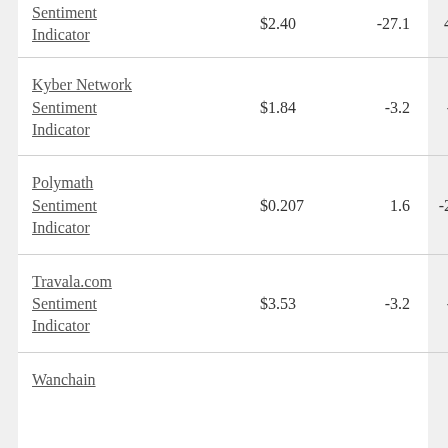| Name | Price | Change1 | Change2 |
| --- | --- | --- | --- |
| [partial] Sentiment Indicator | $2.40 | -27.1 | 46 |
| Kyber Network Sentiment Indicator | $1.84 | -3.2 | -0 |
| Polymath Sentiment Indicator | $0.207 | 1.6 | -21 |
| Travala.com Sentiment Indicator | $3.53 | -3.2 | -8 |
| Wanchain [partial] |  |  |  |